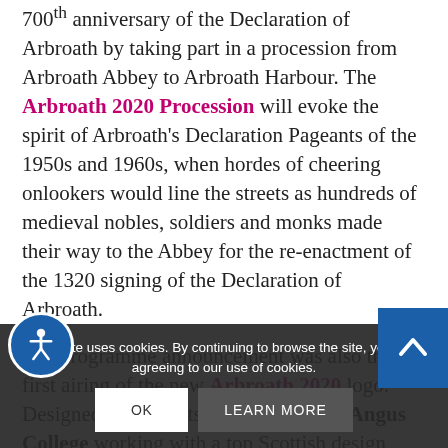700th anniversary of the Declaration of Arbroath by taking part in a procession from Arbroath Abbey to Arbroath Harbour. The Arbroath 2020 Procession will evoke the spirit of Arbroath's Declaration Pageants of the 1950s and 1960s, when hordes of cheering onlookers would line the streets as hundreds of medieval nobles, soldiers and monks made their way to the Abbey for the re-enactment of the 1320 signing of the Declaration of Arbroath.
The programme announcement was also the first airing of the new Arbroath 2020 logo. Designed by students from Dundee & Angus College working with a top Scottish design agency, the eye-catching logo will be used to identify Arbroath 2020 events appearing on banners and flags which will decorate the town from
This site uses cookies. By continuing to browse the site, you are agreeing to our use of cookies.